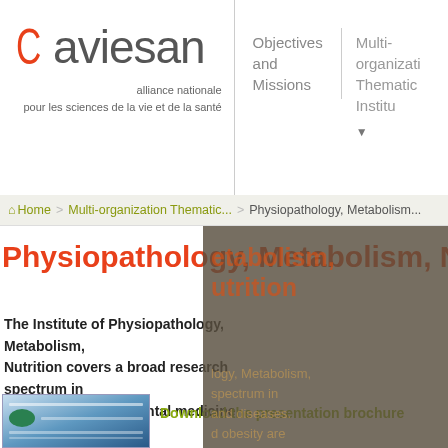[Figure (logo): Aviesan logo with red C and grey 'aviesan' text, tagline 'alliance nationale pour les sciences de la vie et de la santé']
Objectives and Missions | Multi-organization Thematic Insti...
Home > Multi-organization Thematic... > Physiopathology, Metabolism...
Physiopathology, Metabolism, Nutrition
The Institute of Physiopathology, Metabolism, Nutrition covers a broad research spectrum in physiology, experimental medicine and diseases. Cardiovascular diseases, diabetes and obesity are some of its priorities.
Download the presentation brochure
[Figure (photo): Thumbnail of a presentation brochure document]